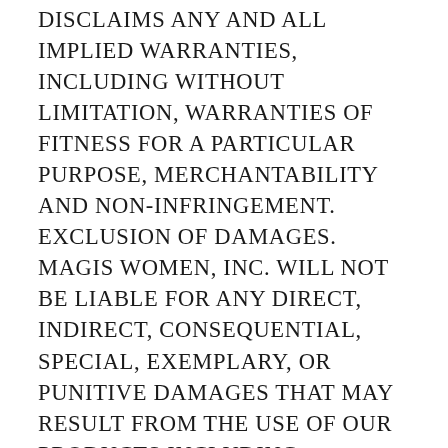DISCLAIMS ANY AND ALL IMPLIED WARRANTIES, INCLUDING WITHOUT LIMITATION, WARRANTIES OF FITNESS FOR A PARTICULAR PURPOSE, MERCHANTABILITY AND NON-INFRINGEMENT. EXCLUSION OF DAMAGES. MAGIS WOMEN, INC. WILL NOT BE LIABLE FOR ANY DIRECT, INDIRECT, CONSEQUENTIAL, SPECIAL, EXEMPLARY, OR PUNITIVE DAMAGES THAT MAY RESULT FROM THE USE OF OUR PRODUCTS INCLUDING ECONOMIC LOSS, INJURY, ILLNESS, OR DEATH. MAGIS WOMEN, INC. WILL NOT BE LIABLE TO YOU OR ANY THIRD PARTY FOR ANY